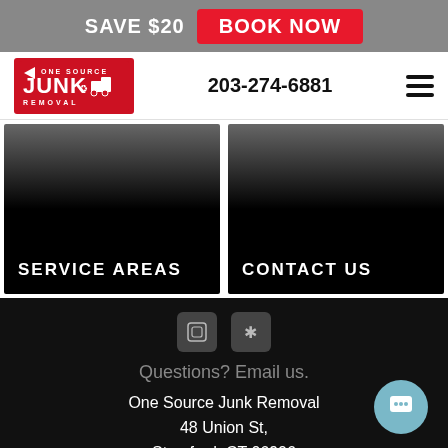SAVE $20  BOOK NOW
[Figure (logo): One Source Junk Removal logo — red background with white text]
203-274-6881
[Figure (photo): Dark image panel labelled SERVICE AREAS]
[Figure (photo): Dark image panel labelled CONTACT US]
Questions? Email us.
One Source Junk Removal
48 Union St,
Stamford, CT 06906